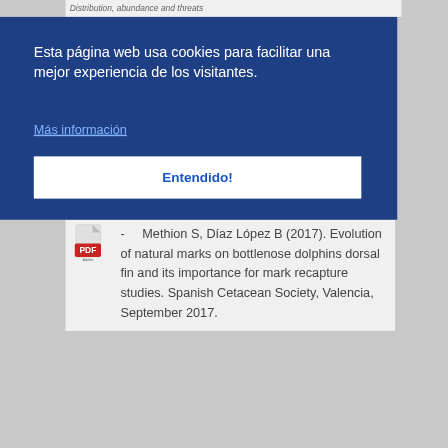Distribution, abundance and threats
Esta página web usa cookies para facilitar una mejor experiencia de los visitantes.
Más información
Entendido!
- Methion S, Díaz López B (2017). Evolution of natural marks on bottlenose dolphins dorsal fin and its importance for mark recapture studies. Spanish Cetacean Society, Valencia, September 2017.